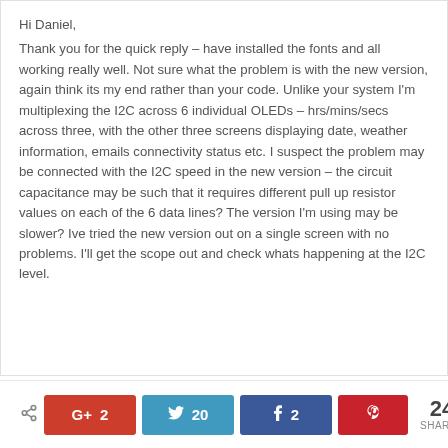Hi Daniel,
Thank you for the quick reply – have installed the fonts and all working really well. Not sure what the problem is with the new version, again think its my end rather than your code. Unlike your system I'm multiplexing the I2C across 6 individual OLEDs – hrs/mins/secs across three, with the other three screens displaying date, weather information, emails connectivity status etc. I suspect the problem may be connected with the I2C speed in the new version – the circuit capacitance may be such that it requires different pull up resistor values on each of the 6 data lines? The version I'm using may be slower? Ive tried the new version out on a single screen with no problems. I'll get the scope out and check whats happening at the I2C level.
[Figure (infographic): Social share bar with Google+ (2 shares), Twitter (20 shares), Facebook (2 shares), Pinterest (no count), and total 24 SHARES]